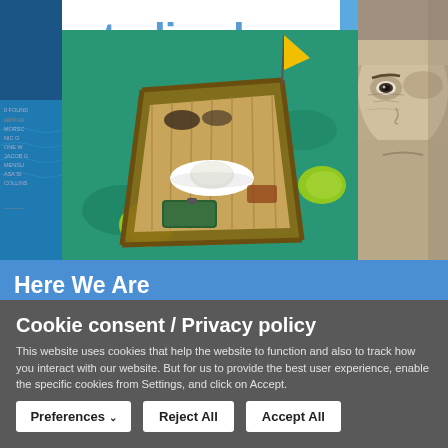[Figure (photo): Website screenshot showing Studio AKA logo (blue text on white background), a collage of images including a top-down view of a wooden boat on turquoise water with a hat, shoes and bag inside, a partial blue sky strip, and a close-up black-and-white portrait of an elderly person on the right. Below is a blue banner with 'Here We Are' text and a partially visible subtitle line.]
Cookie consent / Privacy policy
This website uses cookies that help the website to function and also to track how you interact with our website. But for us to provide the best user experience, enable the specific cookies from Settings, and click on Accept.
Preferences
Reject All
Accept All